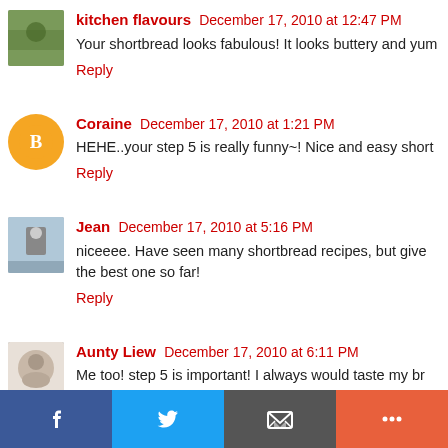kitchen flavours  December 17, 2010 at 12:47 PM
Your shortbread looks fabulous! It looks buttery and yum…
Reply
Coraine  December 17, 2010 at 1:21 PM
HEHE..your step 5 is really funny~! Nice and easy short…
Reply
Jean  December 17, 2010 at 5:16 PM
niceeee. Have seen many shortbread recipes, but give… the best one so far!
Reply
Aunty Liew  December 17, 2010 at 6:11 PM
Me too! step 5 is important! I always would taste my br…